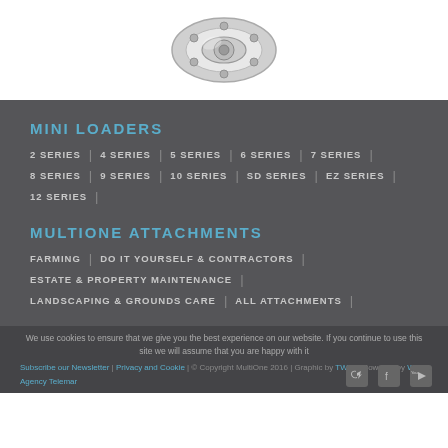[Figure (photo): Mechanical coupling/connector product image, metallic silver, viewed from top]
MINI LOADERS
2 SERIES | 4 SERIES | 5 SERIES | 6 SERIES | 7 SERIES | 8 SERIES | 9 SERIES | 10 SERIES | SD SERIES | EZ SERIES | 12 SERIES
MULTIONE ATTACHMENTS
FARMING | DO IT YOURSELF & CONTRACTORS | ESTATE & PROPERTY MAINTENANCE | LANDSCAPING & GROUNDS CARE | ALL ATTACHMENTS
We use cookies to ensure that we give you the best experience on our website. If you continue to use this site we will assume that you are happy with it
Subscribe our Newsletter | Privacy and Cookie | © Copyright MultiOne 2016 | Graphic by TWS & Powered by Web Agency Telemar